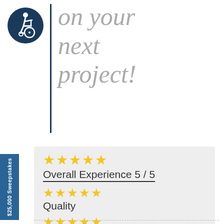[Figure (logo): Accessibility icon in dark blue circle — wheelchair user symbol]
on your next project!
Overall Experience 5 / 5
Quality
Price
Convenience
$25,000 Sweepstakes